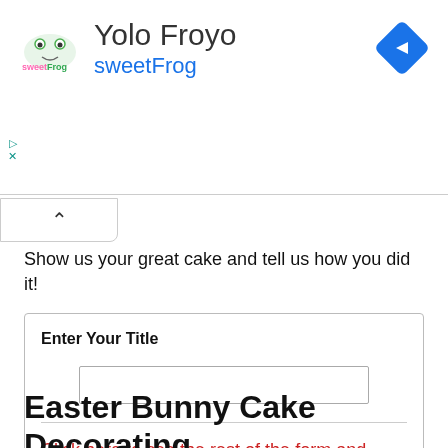[Figure (logo): sweetFrog yogurt brand logo with colorful letters and frog mascot, alongside 'Yolo Froyo / sweetFrog' advertisement text and a blue diamond navigation icon]
Show us your great cake and tell us how you did it!
Enter Your Title
Click here to see the rest of the form and complete your submission.
Easter Bunny Cake Decorating Resources